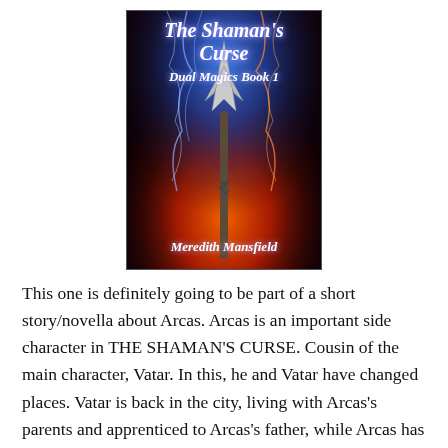[Figure (illustration): Book cover of 'The Shaman's Curse, Dual Magics Book 1' by Meredith Mansfield. Dark background with blue and orange/red lightning flames and a spear/trident weapon in the center.]
This one is definitely going to be part of a short story/novella about Arcas. Arcas is an important side character in THE SHAMAN'S CURSE. Cousin of the main character, Vatar. In this, he and Vatar have changed places. Vatar is back in the city, living with Arcas's parents and apprenticed to Arcas's father, while Arcas has gone